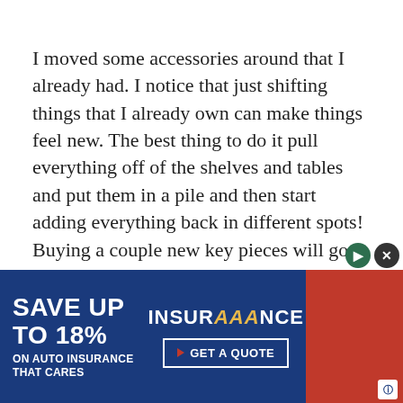I moved some accessories around that I already had. I notice that just shifting things that I already own can make things feel new. The best thing to do it pull everything off of the shelves and tables and put them in a pile and then start adding everything back in different spots! Buying a couple new key pieces will go a long way. I added some new art from Minted. I picked out pieces that felt summery and beachy, like THIS picture above.
[Figure (other): Advertisement banner for AAA Insurance: 'Save up to 18% on auto insurance that cares' with a 'Get a Quote' button, blue and red color scheme with AAA logo]